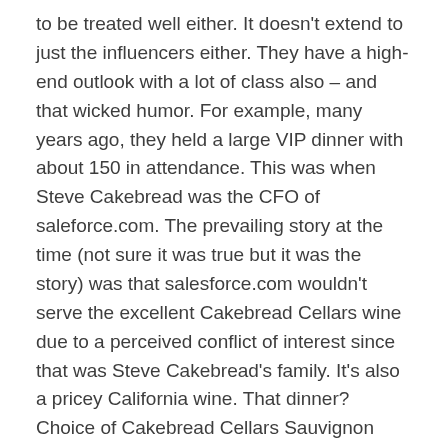to be treated well either. It doesn't extend to just the influencers either. They have a high-end outlook with a lot of class also – and that wicked humor. For example, many years ago, they held a large VIP dinner with about 150 in attendance. This was when Steve Cakebread was the CFO of saleforce.com. The prevailing story at the time (not sure it was true but it was the story) was that salesforce.com wouldn't serve the excellent Cakebread Cellars wine due to a perceived conflict of interest since that was Steve Cakebread's family. It's also a pricey California wine. That dinner? Choice of Cakebread Cellars Sauvignon Blanc (I think – could have been a Chardonnay) or Cakebread Cellars Cabernet Sauvignon. The joke is obvious, but it is also a superb wine. This is a company that applies its high-end instincts (most of the time using their customers' upscale goods) to its influencer program due to Mei Li's considerable clout and